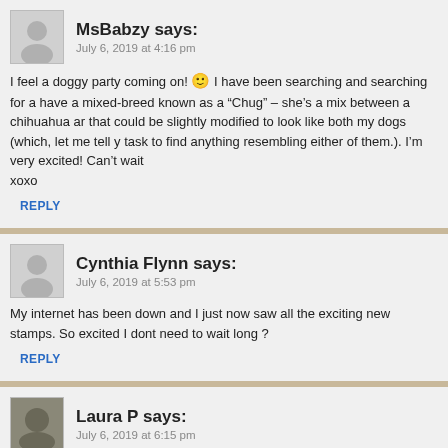MsBabzy says:
July 6, 2019 at 4:16 pm
I feel a doggy party coming on! 🙂 I have been searching and searching for a have a mixed-breed known as a "Chug" – she's a mix between a chihuahua ar that could be slightly modified to look like both my dogs (which, let me tell y task to find anything resembling either of them.). I'm very excited! Can't wait xoxo
REPLY
Cynthia Flynn says:
July 6, 2019 at 5:53 pm
My internet has been down and I just now saw all the exciting new stamps. So excited I dont need to wait long ?
REPLY
Laura P says:
July 6, 2019 at 6:15 pm
My favorite is the dark grey wolfhound, although all are stinking cute!
REPLY
Nancy S says:
July 6, 2019 at 7:24 pm